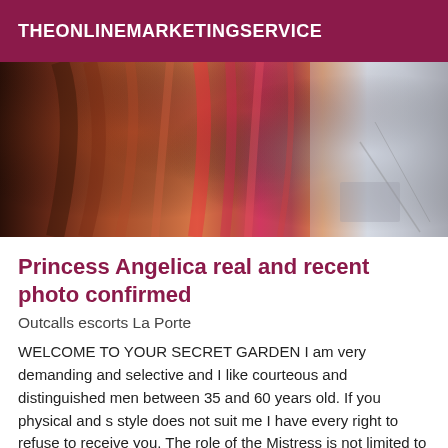THEONLINEMARKETINGSERVICE
[Figure (photo): Blurred close-up photo of a person with pink and dark hair, with a white surface and cables visible in the background.]
Princess Angelica real and recent photo confirmed
Outcalls escorts La Porte
WELCOME TO YOUR SECRET GARDEN I am very demanding and selective and I like courteous and distinguished men between 35 and 60 years old. If you physical and s style does not suit me I have every right to refuse to receive you. The role of the Mistress is not limited to knowing how to handle a whip or any other instrument. It is much deeper than that. I must discover